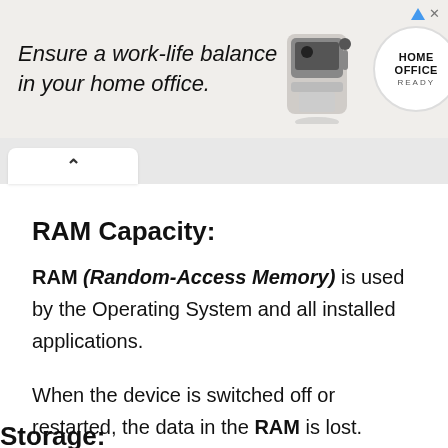[Figure (photo): Advertisement banner for Jura home office coffee machine. Text reads 'Ensure a work-life balance in your home office.' with a coffee machine image, HOME OFFICE READY badge, and Jura logo.]
RAM Capacity:
RAM (Random-Access Memory) is used by the Operating System and all installed applications.
When the device is switched off or restarted, the data in the RAM is lost.
Storage: